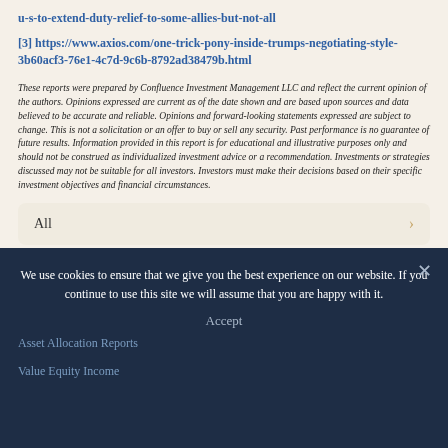u-s-to-extend-duty-relief-to-some-allies-but-not-all
[3] https://www.axios.com/one-trick-pony-inside-trumps-negotiating-style-3b60acf3-76e1-4c7d-9c6b-8792ad38479b.html
These reports were prepared by Confluence Investment Management LLC and reflect the current opinion of the authors. Opinions expressed are current as of the date shown and are based upon sources and data believed to be accurate and reliable. Opinions and forward-looking statements expressed are subject to change. This is not a solicitation or an offer to buy or sell any security. Past performance is no guarantee of future results. Information provided in this report is for educational and illustrative purposes only and should not be construed as individualized investment advice or a recommendation. Investments or strategies discussed may not be suitable for all investors. Investors must make their decisions based on their specific investment objectives and financial circumstances.
All
Daily Comment
We use cookies to ensure that we give you the best experience on our website. If you continue to use this site we will assume that you are happy with it.
Accept
Asset Allocation Reports
Value Equity Income